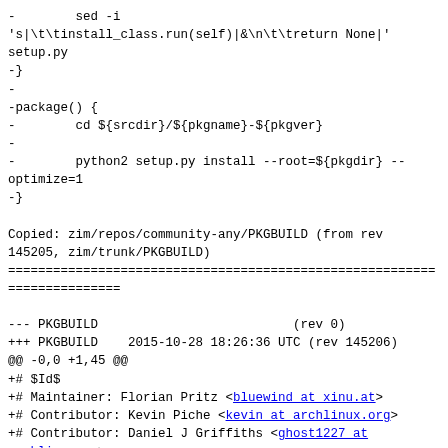-        sed -i
's|\t\tinstall_class.run(self)|&\n\t\treturn None|'
setup.py
-}
-
-package() {
-        cd ${srcdir}/${pkgname}-${pkgver}
-
-        python2 setup.py install --root=${pkgdir} --optimize=1
-}

Copied: zim/repos/community-any/PKGBUILD (from rev 145205, zim/trunk/PKGBUILD)
========================================================================
--- PKGBUILD                          (rev 0)
+++ PKGBUILD    2015-10-28 18:26:36 UTC (rev 145206)
@@ -0,0 +1,45 @@
+# $Id$
+# Maintainer: Florian Pritz <bluewind at xinu.at>
+# Contributor: Kevin Piche <kevin at archlinux.org>
+# Contributor: Daniel J Griffiths <ghost1227 at archlinux.us>
+
+pkgname=zim
+pkgver=0.64
+pkgrel=1
+pkgdesc="A WYSIWYG text editor that aims at bringing the concept of a wiki to the desktop."
+arch=(any)